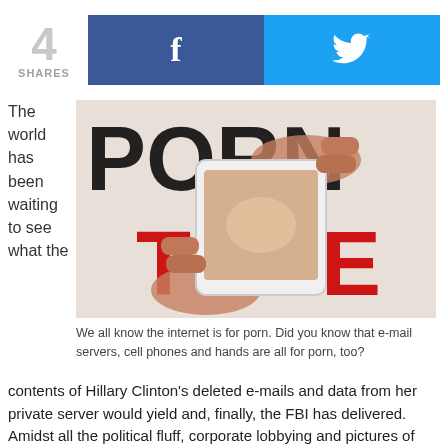[Figure (infographic): Share count showing '4 SHARES' in grey, with Facebook (blue) and Twitter (light blue) share buttons]
[Figure (photo): Hands holding a smartphone in front of a PORNTUBE logo background, showing adult content on screen]
We all know the internet is for porn. Did you know that e-mail servers, cell phones and hands are all for porn, too?
The world has been waiting to see what the contents of Hillary Clinton's deleted e-mails and data from her private server would yield and, finally, the FBI has delivered. Amidst all the political fluff, corporate lobbying and pictures of puppies and kittens, the one surprising